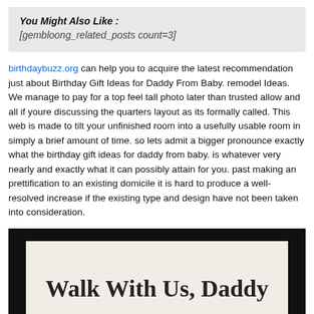You Might Also Like :
[gembloong_related_posts count=3]
birthdaybuzz.org can help you to acquire the latest recommendation just about Birthday Gift Ideas for Daddy From Baby. remodel Ideas. We manage to pay for a top feel tall photo later than trusted allow and all if youre discussing the quarters layout as its formally called. This web is made to tilt your unfinished room into a usefully usable room in simply a brief amount of time. so lets admit a bigger pronounce exactly what the birthday gift ideas for daddy from baby. is whatever very nearly and exactly what it can possibly attain for you. past making an prettification to an existing domicile it is hard to produce a well-resolved increase if the existing type and design have not been taken into consideration.
[Figure (photo): Photo with dark background showing a white card with handwritten text 'Walk With Us, Daddy' and a baby image below]